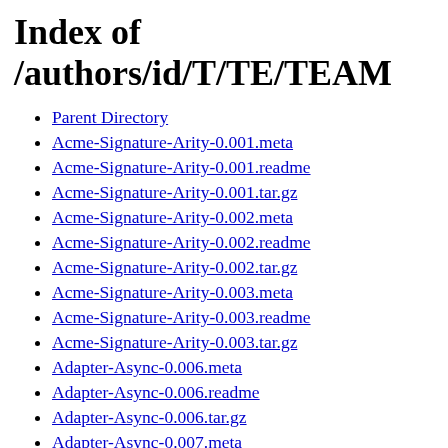Index of /authors/id/T/TE/TEAM
Parent Directory
Acme-Signature-Arity-0.001.meta
Acme-Signature-Arity-0.001.readme
Acme-Signature-Arity-0.001.tar.gz
Acme-Signature-Arity-0.002.meta
Acme-Signature-Arity-0.002.readme
Acme-Signature-Arity-0.002.tar.gz
Acme-Signature-Arity-0.003.meta
Acme-Signature-Arity-0.003.readme
Acme-Signature-Arity-0.003.tar.gz
Adapter-Async-0.006.meta
Adapter-Async-0.006.readme
Adapter-Async-0.006.tar.gz
Adapter-Async-0.007.meta
Adapter-Async-0.007.readme
Adapter-Async-0.007.tar.gz
Adapter-Async-0.008.meta
Adapter-Async-0.008.readme
Adapter-Async-0.008.tar.gz